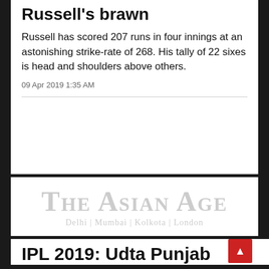Russell's brawn
Russell has scored 207 runs in four innings at an astonishing strike-rate of 268. His tally of 22 sixes is head and shoulders above others.
09 Apr 2019 1:35 AM
[Figure (logo): The Asian Age newspaper logo with tagline 'Delhi | Mumbai | Kolkota | London']
IPL 2019: Udta Punjab